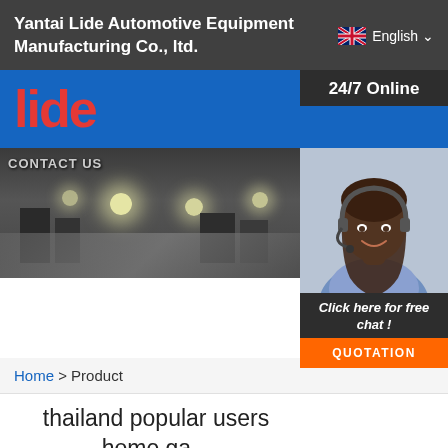Yantai Lide Automotive Equipment Manufacturing Co., ltd.
[Figure (logo): Lide company logo in red text on blue bar]
[Figure (photo): City aerial view banner with CONTACT US text and customer service agent photo with 24/7 Online, Click here for free chat!, and QUOTATION button]
Home > Product
thailand popular users home ga... elevator
Just fill in the form below, click submit, you will get the price list, and we will contact you within one working day. Please also feel free to contact us via email or phone. (* is required).